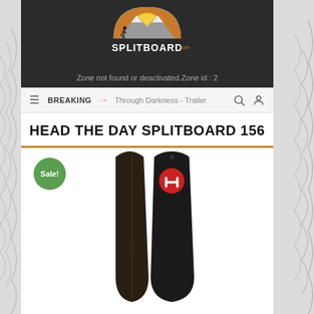[Figure (logo): Splitboard.com logo — semicircular mountain/sun scene above bold SPLITBOARD .COM text on dark background]
Zone not found or deactivated.Zone id : 2
≡  BREAKING →  Through Darkness - Trailer
HEAD THE DAY SPLITBOARD 156
[Figure (photo): Two splitboard halves shown vertically — left half is brown/dark wood-toned top sheet, right half is black base with red HEAD logo circle at top. A green 'Sale!' badge is in the upper left corner.]